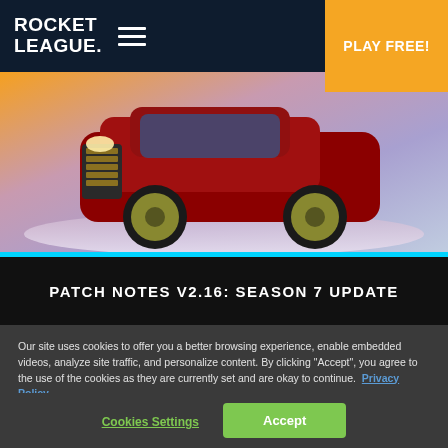ROCKET LEAGUE
PLAY FREE!
[Figure (illustration): Red luxury car with gold rims on a stylized arena background with orange, pink, and blue gradient.]
PATCH NOTES V2.16: SEASON 7 UPDATE
Our site uses cookies to offer you a better browsing experience, enable embedded videos, analyze site traffic, and personalize content. By clicking “Accept”, you agree to the use of the cookies as they are currently set and are okay to continue. Privacy Policy
Cookies Settings
Accept